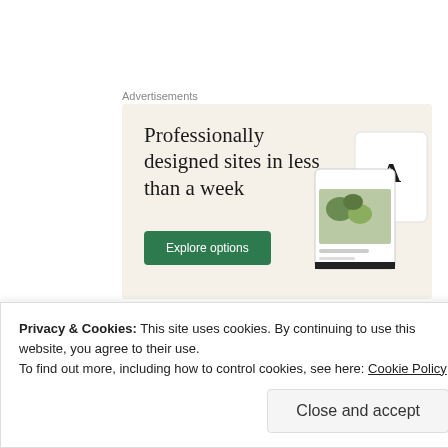Advertisements
[Figure (screenshot): Advertisement banner with beige background showing text 'Professionally designed sites in less than a week' with a green 'Explore options' button and mockup device images on the right.]
-They're freaking delicious.
Privacy & Cookies: This site uses cookies. By continuing to use this website, you agree to their use.
To find out more, including how to control cookies, see here: Cookie Policy
Close and accept